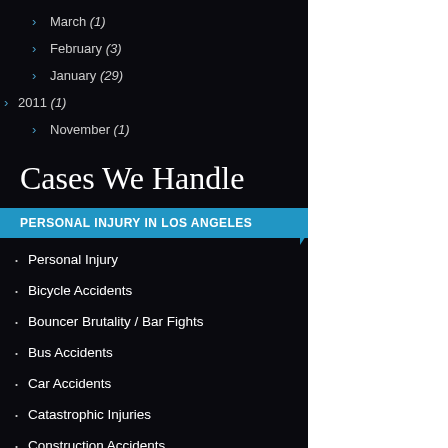March (1)
February (3)
January (29)
2011 (1)
November (1)
Cases We Handle
PERSONAL INJURY IN LOS ANGELES
Personal Injury
Bicycle Accidents
Bouncer Brutality / Bar Fights
Bus Accidents
Car Accidents
Catastrophic Injuries
Construction Accidents
Defective Products
Dog Bites